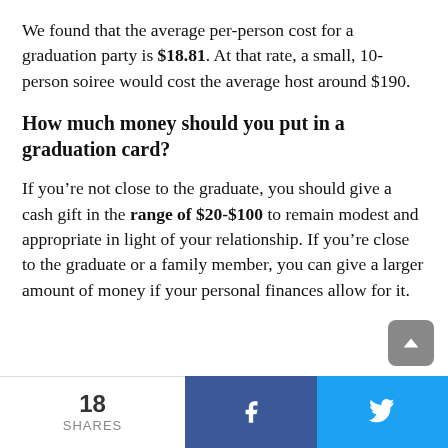We found that the average per-person cost for a graduation party is $18.81. At that rate, a small, 10-person soiree would cost the average host around $190.
How much money should you put in a graduation card?
If you're not close to the graduate, you should give a cash gift in the range of $20-$100 to remain modest and appropriate in light of your relationship. If you're close to the graduate or a family member, you can give a larger amount of money if your personal finances allow for it.
18 SHARES | Facebook | Twitter